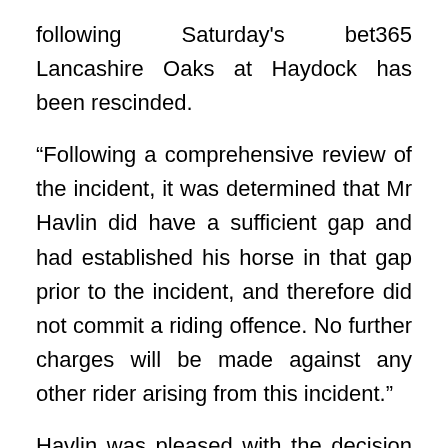following Saturday's bet365 Lancashire Oaks at Haydock has been rescinded.
“Following a comprehensive review of the incident, it was determined that Mr Havlin did have a sufficient gap and had established his horse in that gap prior to the incident, and therefore did not commit a riding offence. No further charges will be made against any other rider arising from this incident.”
Havlin was pleased with the decision and told the PA news agency: “I’m very pleased we didn’t have to go through the appeals process, it would have been a waste of everybody’s time as well as costing money, and I agree with the